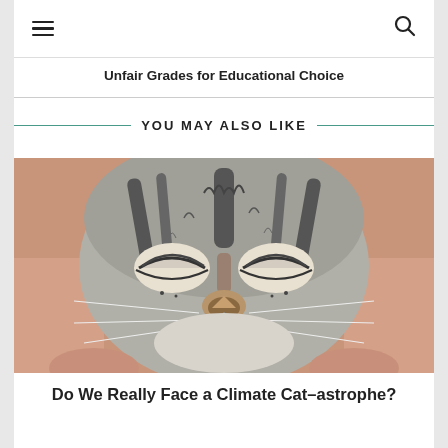≡   Q
Unfair Grades for Educational Choice
YOU MAY ALSO LIKE
[Figure (photo): Close-up photograph of a tabby cat's face with eyes closed, being held in a person's hands]
Do We Really Face a Climate Cat–astrophe?